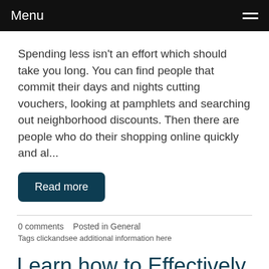Menu
Spending less isn't an effort which should take you long. You can find people that commit their days and nights cutting vouchers, looking at pamphlets and searching out neighborhood discounts. Then there are people who do their shopping online quickly and al...
Read more
0 comments   Posted in General
Tags clickandsee additional information here
Learn how to Effectively Market Your Products On-line